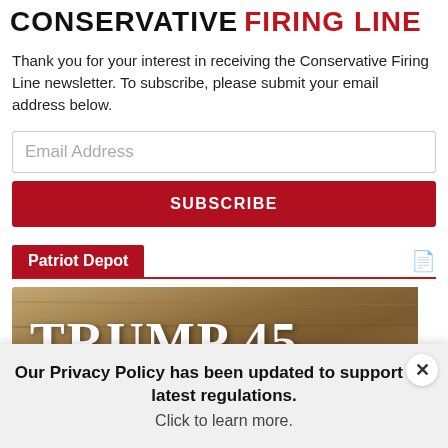CONSERVATIVE FIRING LINE
Thank you for your interest in receiving the Conservative Firing Line newsletter. To subscribe, please submit your email address below.
Email Address
SUBSCRIBE
Patriot Depot
[Figure (photo): Trump 45 sign against a wooden background]
Our Privacy Policy has been updated to support the latest regulations. Click to learn more.